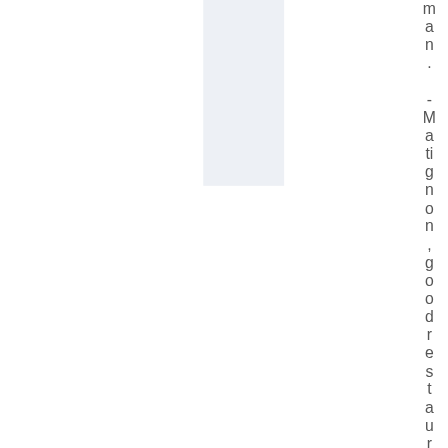man. - Matignon, good restaurant with